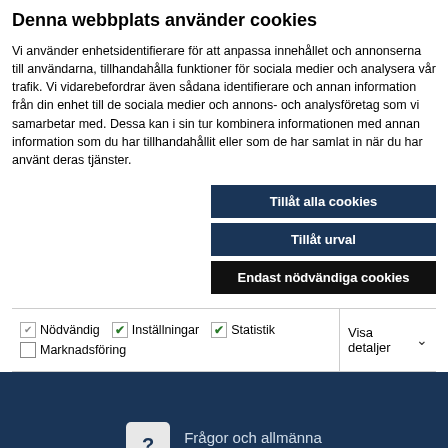Denna webbplats använder cookies
Vi använder enhetsidentifierare för att anpassa innehållet och annonserna till användarna, tillhandahålla funktioner för sociala medier och analysera vår trafik. Vi vidarebefordrar även sådana identifierare och annan information från din enhet till de sociala medier och annons- och analysföretag som vi samarbetar med. Dessa kan i sin tur kombinera informationen med annan information som du har tillhandahållit eller som de har samlat in när du har använt deras tjänster.
Tillåt alla cookies
Tillåt urval
Endast nödvändiga cookies
| Nödvändig | Inställningar | Statistik | Visa detaljer |
| --- | --- | --- | --- |
| ☑ Nödvändig | ✓ Inställningar | ✓ Statistik | Visa detaljer |
| ☐ Marknadsföring |  |  |  |
[Figure (other): Question mark speech bubble icon for FAQ]
Frågor och allmänna ärenden